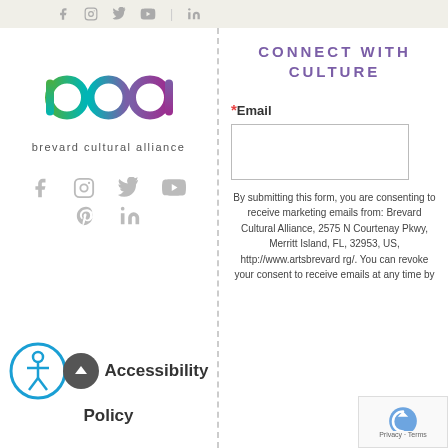[Figure (other): Social media icons in top bar: Facebook, Instagram, Twitter, YouTube, Pinterest, LinkedIn]
[Figure (logo): Brevard Cultural Alliance logo with colorful 'bca' text and tagline 'brevard cultural alliance']
[Figure (other): Social media icons: Facebook, Instagram, Twitter, YouTube on first row; Pinterest and LinkedIn on second row]
[Figure (other): Accessibility icon (person in circle) and dark circular back-to-top arrow button]
Accessibility
Policy
CONNECT WITH CULTURE
* Email
By submitting this form, you are consenting to receive marketing emails from: Brevard Cultural Alliance, 2575 N Courtenay Pkwy, Merritt Island, FL, 32953, US, http://www.artsbrevard rg/. You can revoke your consent to receive emails at any time by